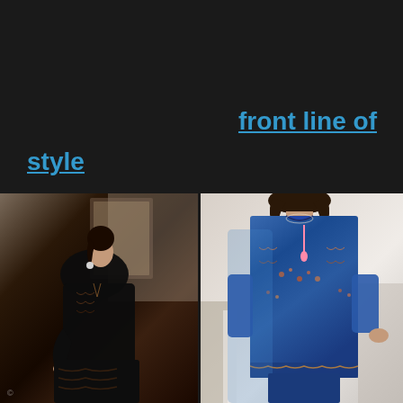front line of
style
[Figure (photo): Woman wearing a dark black velvet embroidered Pakistani/South Asian outfit, seated, with dark hair pulled back, earrings, against a beige/stone wall background]
[Figure (photo): Woman wearing a blue embroidered Pakistani/South Asian outfit (kameez) with floral patterns and a matching sheer dupatta, standing against a light background]